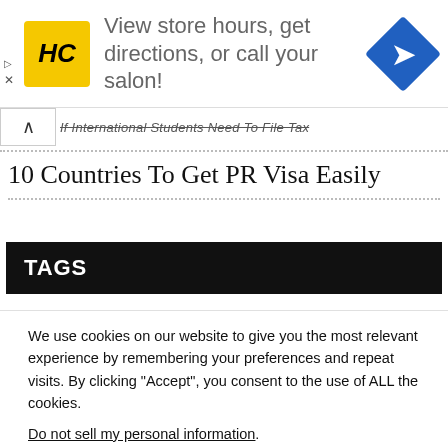[Figure (illustration): Advertisement banner with HC (Hair Club) yellow logo on left, text 'View store hours, get directions, or call your salon!' in gray, and a blue navigation arrow diamond icon on right.]
If International Students Need To File Tax
10 Countries To Get PR Visa Easily
TAGS
We use cookies on our website to give you the most relevant experience by remembering your preferences and repeat visits. By clicking “Accept”, you consent to the use of ALL the cookies.
Do not sell my personal information.